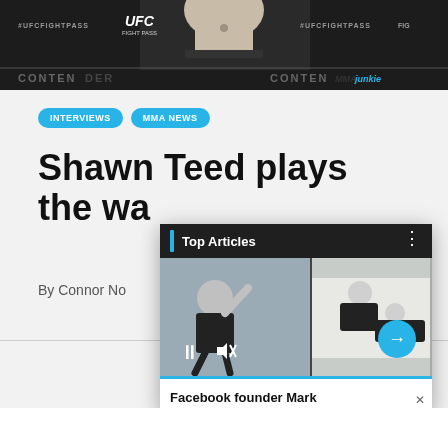[Figure (photo): MMA weigh-in scene with UFC Fight Pass banners, showing a person's torso/feet on scale, and CONTENDER series branding with MMAjunkie logo]
INTERVIEWS
MMA NEWS
Shawn Teed plays the wa...
By Connor No...
[Figure (screenshot): Top Articles video popup overlay showing two side-by-side video frames of people grappling/wrestling, with pause and mute controls, a next arrow button, and caption 'Facebook founder Mark ...']